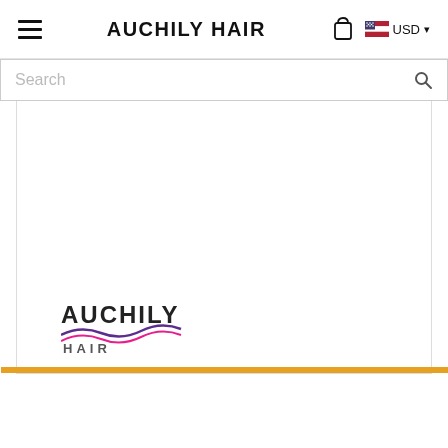AUCHILY HAIR
Search
[Figure (logo): Auchily Hair logo with wave graphic and text 'AUCHILY HAIR']